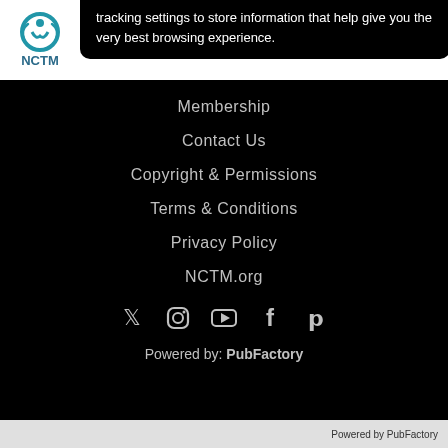[Figure (logo): NCTM logo with circular icon and 'NCTM' text in teal/blue]
tracking settings to store information that help give you the very best browsing experience.
Search
Membership
Contact Us
Copyright & Permissions
Terms & Conditions
Privacy Policy
NCTM.org
[Figure (infographic): Social media icons: Twitter, Instagram, YouTube, Facebook, Pinterest]
Powered by: PubFactory
Powered by PubFactory